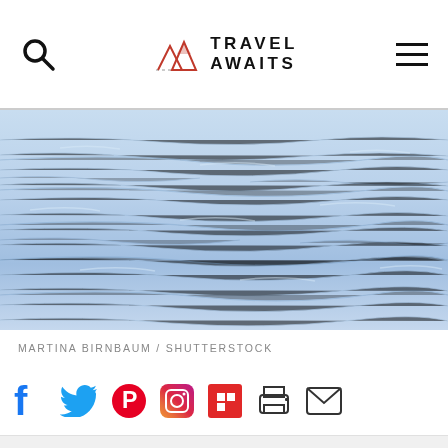Travel Awaits
[Figure (photo): Wide shot of calm blue ocean water surface with gentle ripples and reflections.]
MARTINA BIRNBAUM / SHUTTERSTOCK
[Figure (infographic): Social media sharing icons: Facebook, Twitter, Pinterest, Instagram, Flipboard, Print, Email]
RELATED:
ACTIVITIES AND INTERESTS
ALASKA
ALASKA CRUISES
[Figure (screenshot): WayAway advertisement: It's cashback. Get more from your trip with WayAway.]